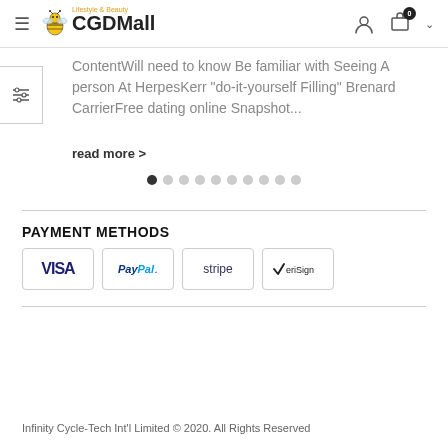CGDMall — Lifestyle & Beauty
ContentWill need to know Be familiar with Seeing A person At HerpesKerr "do-it-yourself Filling" Brenard CarrierFree dating online Snapshot...
read more >
[Figure (other): Carousel pagination dots — 10 dots with the first one filled/active]
PAYMENT METHODS
[Figure (other): Payment method logos: VISA, PayPal, stripe, VeriSign]
Infinity Cycle-Tech Int'l Limited © 2020. All Rights Reserved